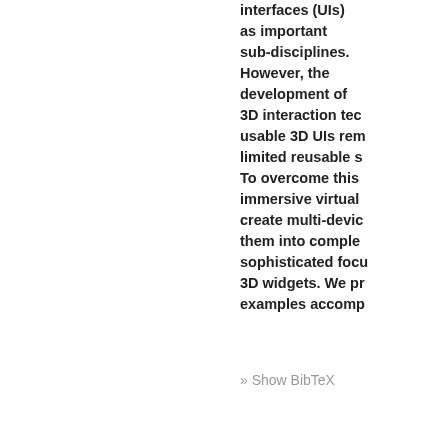interfaces (UIs) as important sub-disciplines. However, the development of 3D interaction tec usable 3D UIs rem limited reusable s To overcome this immersive virtual create multi-devi them into comple sophisticated focu 3D widgets. We pr examples accomp
» Show BibTeX
Downloads:   DOI
Experiences on Training Applic